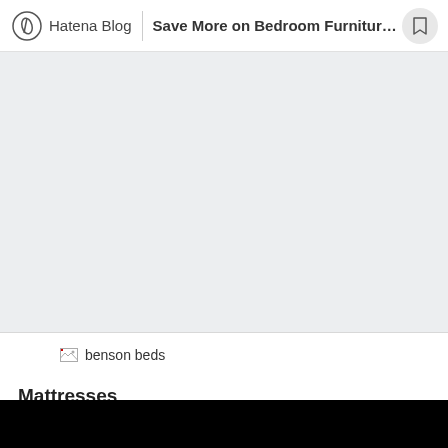Hatena Blog | Save More on Bedroom Furniture...
[Figure (other): Gray placeholder/hero image area]
[Figure (other): Broken image placeholder with alt text: benson beds]
Mattresses